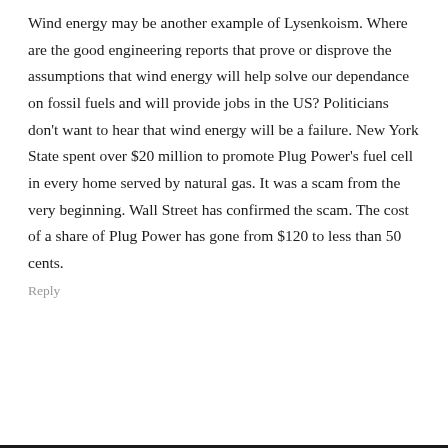Wind energy may be another example of Lysenkoism. Where are the good engineering reports that prove or disprove the assumptions that wind energy will help solve our dependance on fossil fuels and will provide jobs in the US? Politicians don't want to hear that wind energy will be a failure. New York State spent over $20 million to promote Plug Power's fuel cell in every home served by natural gas. It was a scam from the very beginning. Wall Street has confirmed the scam. The cost of a share of Plug Power has gone from $120 to less than 50 cents.
Reply